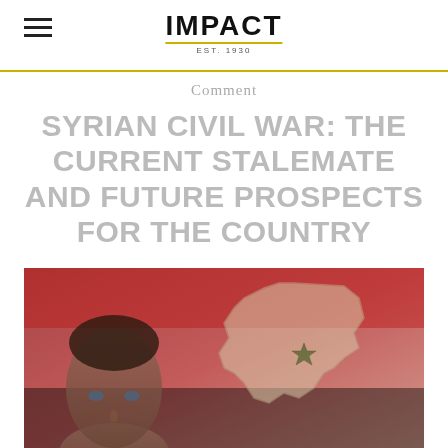IMPACT EST. 1930
Comment
SYRIAN CIVIL WAR: THE CURRENT STALEMATE AND FUTURE PROSPECTS FOR THE COUNTRY
[Figure (photo): Photo of a man's face on the left overlaid with the Syrian flag and a map of Syria on a red background]